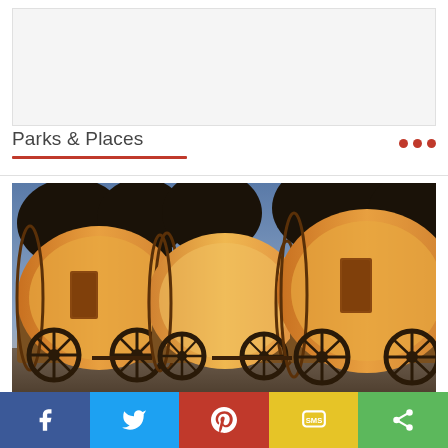[Figure (other): Advertisement placeholder banner (gray box)]
Parks & Places
[Figure (photo): Illuminated covered wagons at dusk with trees in background, golden-orange canvas covers and wooden wheels visible]
Enjoy August at California's Yosemite Place...
[Figure (other): Social share bar with Facebook, Twitter, Pinterest, SMS, and More share buttons]